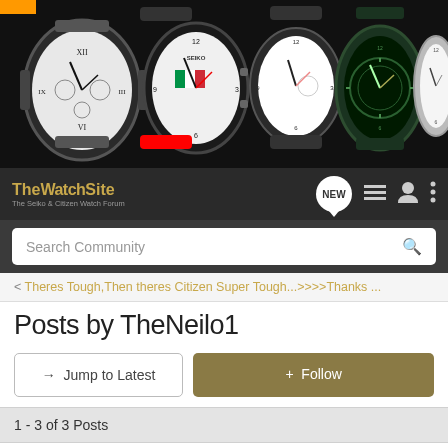[Figure (photo): Banner showing multiple watches (Seiko and Citizen) on a dark background with an orange tag in top-left corner]
The Watch Site — The Seiko & Citizen Watch Forum — Navigation bar with NEW button, list icon, user icon, and menu icon
Search Community
< Theres Tough,Then theres Citizen Super Tough...>>>>Thanks ...
Posts by TheNeilo1
→ Jump to Latest
+ Follow
1 - 3 of 3 Posts
TheNeilo1 · AqualandKing & Special Member 🇬🇧
Joined Apr 2, 2010 · 18,386 Posts